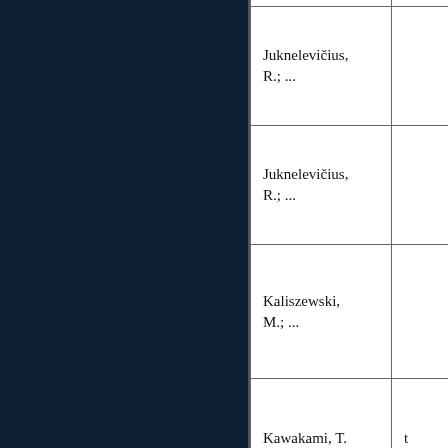| Author |  |
| --- | --- |
| Juknelevičius, R.; ... |  |
| Juknelevičius, R.; ... |  |
| Kaliszewski, M.; ... |  |
| Kawakami, T. | t |
| Kowalski, M.; ... |  |
| Krawczyk, M.; |  |